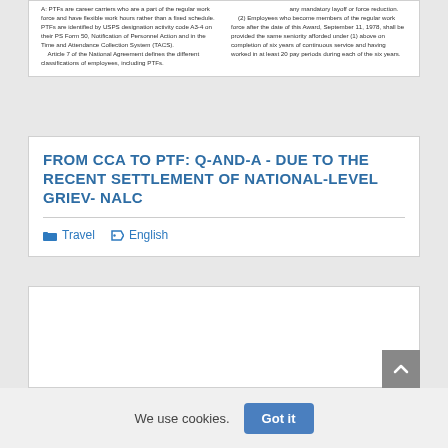A: PTFs are career carriers who are a part of the regular work force and have flexible work hours rather than a fixed schedule. PTFs are identified by USPS designation activity code A3-4 on their PS Form 50, Notification of Personnel Action and in the Time and Attendance Collection System (TACS). Article 7 of the National Agreement defines the different classifications of employees, including PTFs. any mandatory layoff or force reduction. (2) Employees who became members of the regular work force after the date of this Award, September 11, 1978, shall be provided the same seniority afforded under (1) above on completion of six years of continuous service and having worked in at least 20 pay periods during each of the six years.
FROM CCA TO PTF: Q-AND-A - DUE TO THE RECENT SETTLEMENT OF NATIONAL-LEVEL GRIEV- NALC
Travel   English
[Figure (other): Empty white content card / article preview area]